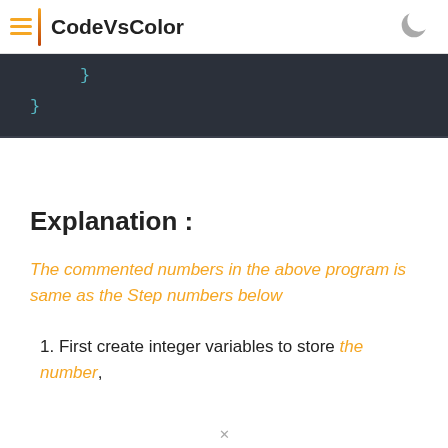CodeVsColor
[Figure (screenshot): Dark code editor block showing closing curly braces in cyan on dark background]
Explanation :
The commented numbers in the above program is same as the Step numbers below
1. First create integer variables to store the number,